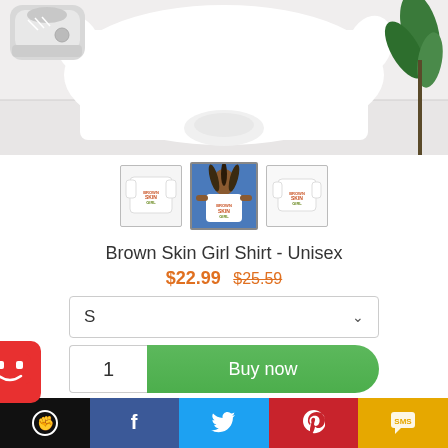[Figure (photo): Main product photo showing a white t-shirt laid flat on a white surface, with a sneaker in the top left and green plant leaves in the top right]
[Figure (photo): Three product thumbnail images: (1) white t-shirt with Brown Skin Girl text, (2) woman wearing the shirt, (3) flat lay of white t-shirt with Brown Skin Girl text]
Brown Skin Girl Shirt - Unisex
$22.99  $25.59
S (size selector dropdown)
1  Buy now
[Figure (screenshot): Social sharing bar with icons: black (fist), Facebook (f), Twitter (bird), Pinterest (P), SMS]
[Figure (logo): Red chatbot icon with smiley face]